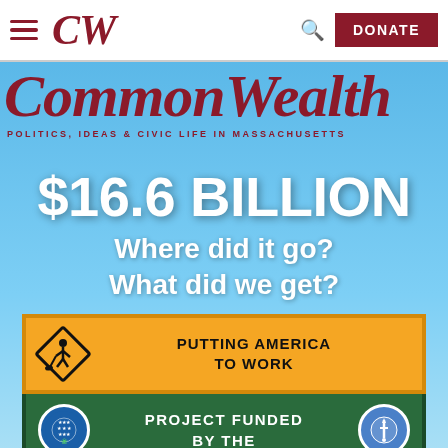CW
CommonWealth
POLITICS, IDEAS & CIVIC LIFE IN MASSACHUSETTS
[Figure (photo): Magazine cover with blue sky background showing road signs: an orange 'Putting America to Work' sign with a worker silhouette diamond, and a green 'Project Funded by the American Recovery' sign with circular badges]
$16.6 BILLION
Where did it go? What did we get?
PUTTING AMERICA TO WORK
PROJECT FUNDED BY THE
American Recovery